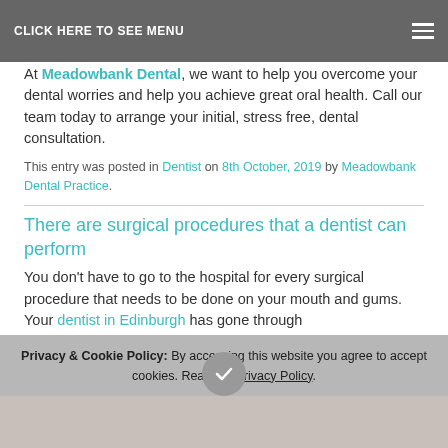CLICK HERE TO SEE MENU
At Meadowbank Dental, we want to help you overcome your dental worries and help you achieve great oral health. Call our team today to arrange your initial, stress free, dental consultation.
This entry was posted in Dentist on 8th October, 2019 by Meadowbank Dental Practice.
There are surgical procedures that a dentist can perform
You don't have to go to the hospital for every surgical procedure that needs to be done on your mouth and gums. Your dentist in Edinburgh has gone through
Privacy & Cookie Policy: By accessing this website you agree to accept cookies. Read the Privacy Policy.